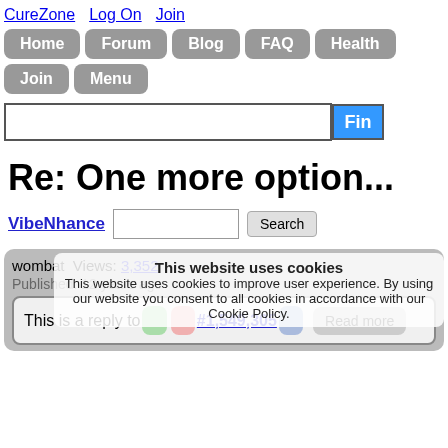CureZone  Log On  Join
Home  Forum  Blog  FAQ  Health  Join  Menu
Re: One more option...
VibeNhance  Search
wombat Views: 3,352
Published: 12 years ago
This website uses cookies
This website uses cookies to improve user experience. By using our website you consent to all cookies in accordance with our Cookie Policy.
This is a reply to #1,549,305  Read more